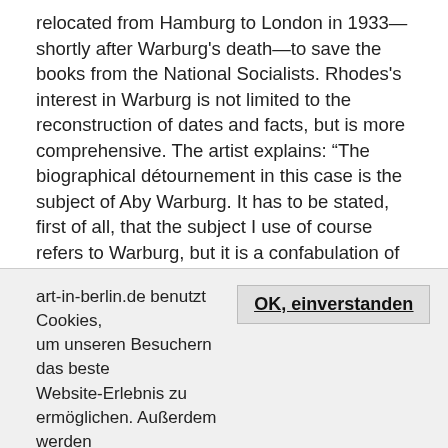relocated from Hamburg to London in 1933—shortly after Warburg's death—to save the books from the National Socialists. Rhodes's interest in Warburg is not limited to the reconstruction of dates and facts, but is more comprehensive. The artist explains: “The biographical détournement in this case is the subject of Aby Warburg. It has to be stated, first of all, that the subject I use of course refers to Warburg, but it is a confabulation of the subject and his westward journey reimagined from the sanatorium, and in turn my sanatorium. I am using the elliptical timeline charted out in Warburg's biography as the underlying grid
art-in-berlin.de benutzt Cookies, um unseren Besuchern das beste Website-Erlebnis zu ermöglichen. Außerdem werden teilweise auch Cookies von Diensten Dritter gesetzt. Weitere Informationen erhalten Sie in der Datenschutzerklärung .